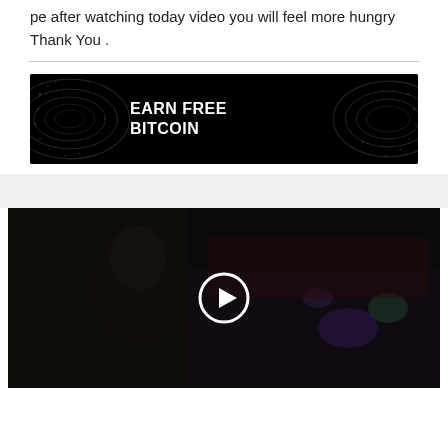pe after watching today video you will feel more hungry Thank You .
[Figure (infographic): Black banner advertisement with swirling pattern texture reading EARN FREE BITCOIN in white bold uppercase letters]
[Figure (screenshot): Dark video thumbnail showing a man in a dimly lit scene with a circular play button overlay in the center]